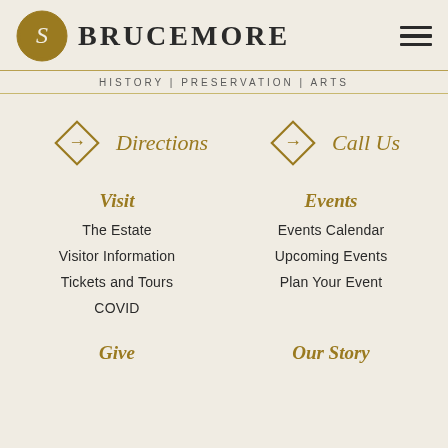BRUCEMORE
HISTORY | PRESERVATION | ARTS
Directions
Call Us
Visit
Events
The Estate
Events Calendar
Visitor Information
Upcoming Events
Tickets and Tours
Plan Your Event
COVID
Give
Our Story